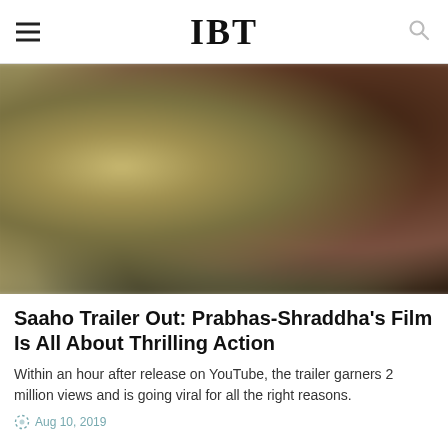IBT
[Figure (photo): Blurred film still from Saaho trailer featuring Prabhas and Shraddha Kapoor with golden and dark tones]
Saaho Trailer Out: Prabhas-Shraddha's Film Is All About Thrilling Action
Within an hour after release on YouTube, the trailer garners 2 million views and is going viral for all the right reasons.
Aug 10, 2019